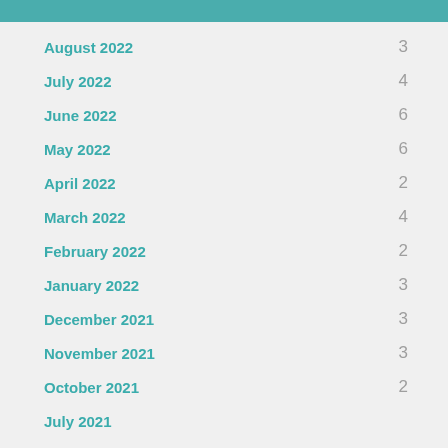August 2022  3
July 2022  4
June 2022  6
May 2022  6
April 2022  2
March 2022  4
February 2022  2
January 2022  3
December 2021  3
November 2021  3
October 2021  2
July 2021
June 2021
May 2021  2